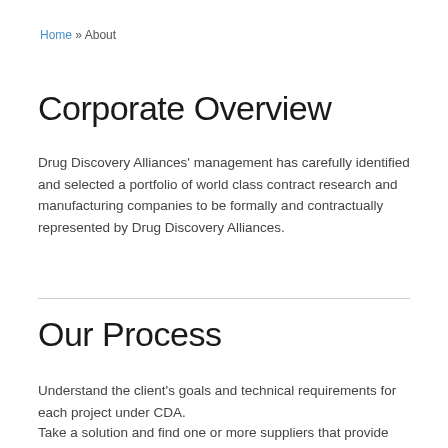Home » About
Corporate Overview
Drug Discovery Alliances' management has carefully identified and selected a portfolio of world class contract research and manufacturing companies to be formally and contractually represented by Drug Discovery Alliances.
Our Process
Understand the client's goals and technical requirements for each project under CDA.
Take a solution and find one or more suppliers that provide the best solution to accomplish the goals and requirements for each and every project for the client.